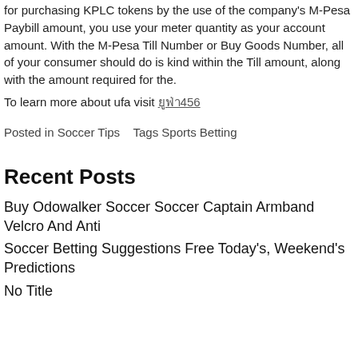for purchasing KPLC tokens by the use of the company's M-Pesa Paybill amount, you use your meter quantity as your account amount. With the M-Pesa Till Number or Buy Goods Number, all of your consumer should do is kind within the Till amount, along with the amount required for the.
To learn more about ufa visit ยูฟ่า456
Posted in Soccer Tips   Tags Sports Betting
Recent Posts
Buy Odowalker Soccer Soccer Captain Armband Velcro And Anti
Soccer Betting Suggestions Free Today's, Weekend's Predictions
No Title